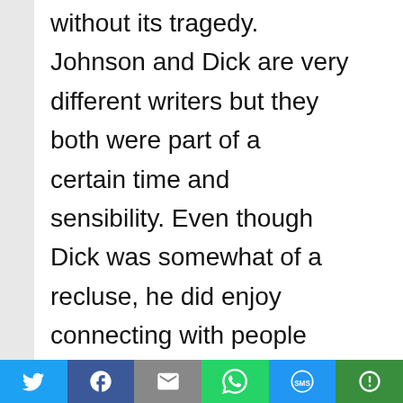without its tragedy. Johnson and Dick are very different writers but they both were part of a certain time and sensibility. Even though Dick was somewhat of a recluse, he did enjoy connecting with people on occasion. Like Johnson, he got to know some of
[Figure (other): Social media sharing bar with icons for Twitter, Facebook, Email, WhatsApp, SMS, and More (represented by colored buttons at the bottom of the page)]